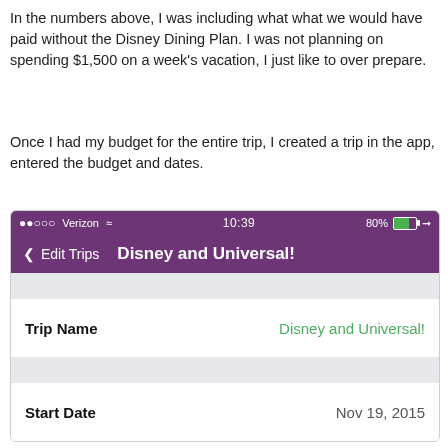In the numbers above, I was including what what we would have paid without the Disney Dining Plan. I was not planning on spending $1,500 on a week’s vacation, I just like to over prepare.
Once I had my budget for the entire trip, I created a trip in the app, entered the budget and dates.
[Figure (screenshot): Mobile app screenshot showing 'Edit Trips' navigation bar with title 'Disney and Universal!', status bar showing Verizon 10:39 80%, and a form with Trip Name field showing 'Disney and Universal!' and Start Date field showing 'Nov 19, 2015'.]